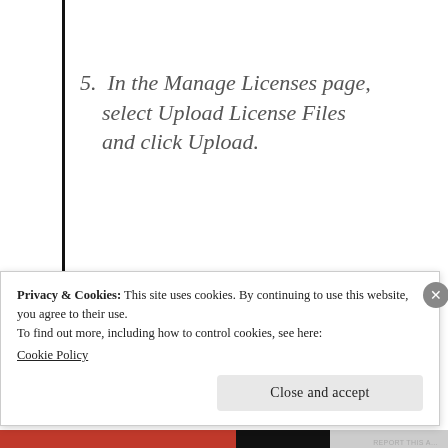5. In the Manage Licenses page, select Upload License Files and click Upload.
Privacy & Cookies: This site uses cookies. By continuing to use this website, you agree to their use.
To find out more, including how to control cookies, see here:
Cookie Policy